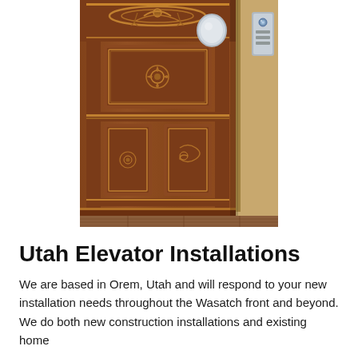[Figure (photo): Interior of a decorative wooden elevator cab with ornate carved wood paneling and an elevator button panel visible on the right side wall. Hardwood floor visible at bottom.]
Utah Elevator Installations
We are based in Orem, Utah and will respond to your new installation needs throughout the Wasatch front and beyond. We do both new construction installations and existing home